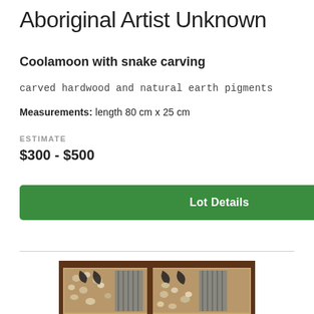Aboriginal Artist Unknown
Coolamoon with snake carving
carved hardwood and natural earth pigments
Measurements: length 80 cm x 25 cm
ESTIMATE
$300 - $500
Lot Details
[Figure (photo): A coolamoon (wooden dish/vessel) with snake carving, made from carved hardwood with natural earth pigments. The object appears rectangular with decorative carved and painted patterns including snake motifs in brown, grey, black and white tones.]